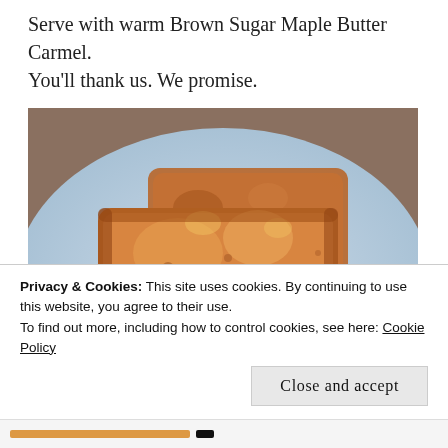Serve with warm Brown Sugar Maple Butter Carmel. You'll thank us. We promise.
[Figure (photo): Slices of golden-brown French toast with caramel/maple butter glaze on a light blue plate, close-up food photograph.]
Privacy & Cookies: This site uses cookies. By continuing to use this website, you agree to their use.
To find out more, including how to control cookies, see here: Cookie Policy
Close and accept